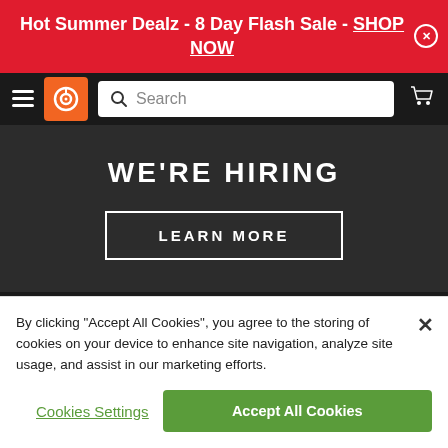Hot Summer Dealz - 8 Day Flash Sale - SHOP NOW
[Figure (screenshot): Navigation bar with hamburger menu, orange logo icon, search bar, and cart icon on dark background]
WE'RE HIRING
LEARN MORE
By clicking “Accept All Cookies”, you agree to the storing of cookies on your device to enhance site navigation, analyze site usage, and assist in our marketing efforts.
Cookies Settings
Accept All Cookies